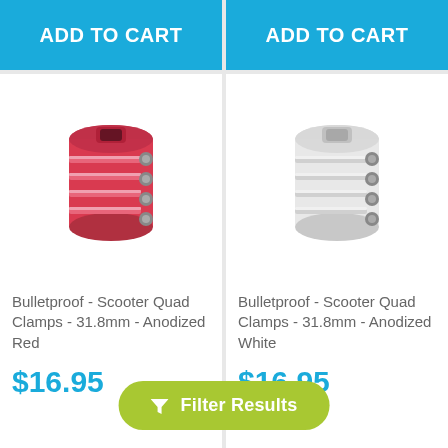ADD TO CART
ADD TO CART
[Figure (photo): Red anodized scooter quad clamp - cylindrical metal clamp with 4 horizontal grooves and 4 bolts on side, red color]
Bulletproof - Scooter Quad Clamps - 31.8mm - Anodized Red
$16.95
[Figure (photo): White anodized scooter quad clamp - cylindrical metal clamp with 4 horizontal grooves and 4 bolts on side, white color]
Bulletproof - Scooter Quad Clamps - 31.8mm - Anodized White
$16.95
Filter Results